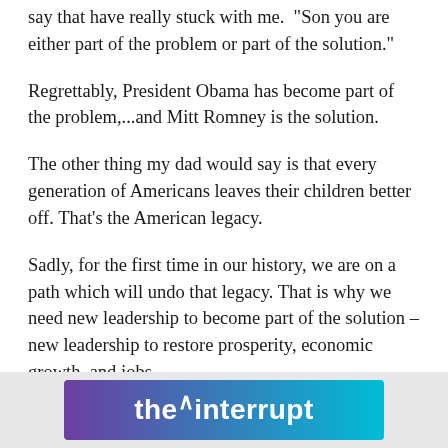say that have really stuck with me. "Son you are either part of the problem or part of the solution."
Regrettably, President Obama has become part of the problem,...and Mitt Romney is the solution.
The other thing my dad would say is that every generation of Americans leaves their children better off. That's the American legacy.
Sadly, for the first time in our history, we are on a path which will undo that legacy. That is why we need new leadership to become part of the solution – new leadership to restore prosperity, economic growth, and jobs.
[Figure (logo): The Interrupt logo banner — gradient background from purple to cyan with bold white text reading 'the interrupt' with a small caret above the comma between 'the' and 'interrupt']